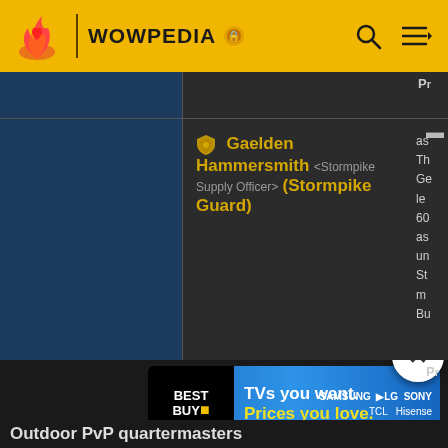WOWPEDIA
|  | Name | Location |  |
| --- | --- | --- | --- |
|  | Gaelden Hammersmith <Stormpike Supply Officer> (Stormpike Guard) | Alterac Valley[44.0, 18.0] |  |
[Figure (screenshot): Best Buy advertisement banner: TVs you want. Prices you love. Samsung LG Sony TCL Hisense]
Outdoor PvP quartermasters